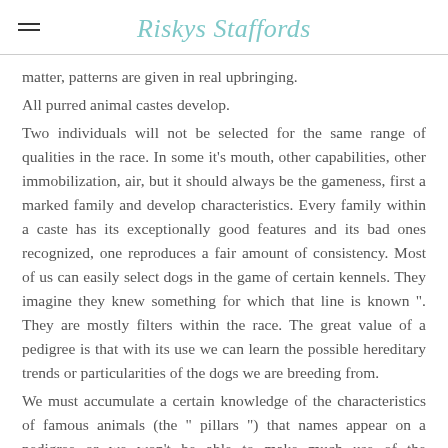Riskys Staffords
matter, patterns are given in real upbringing.
All purred animal castes develop.
Two individuals will not be selected for the same range of qualities in the race. In some it's mouth, other capabilities, other immobilization, air, but it should always be the gameness, first a marked family and develop characteristics. Every family within a caste has its exceptionally good features and its bad ones recognized, one reproduces a fair amount of consistency. Most of us can easily select dogs in the game of certain kennels. They imagine they knew something for which that line is known ". They are mostly filters within the race. The great value of a pedigree is that with its use we can learn the possible hereditary trends or particularities of the dogs we are breeding from.
We must accumulate a certain knowledge of the characteristics of famous animals (the " pillars ") that names appear on a pedigree or we won't be able to make much use of the information a pedigree can afford. If all we have to do to